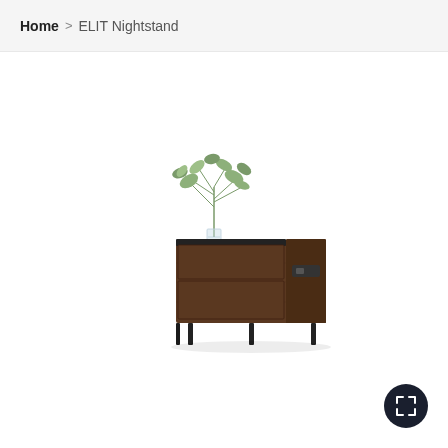Home > ELIT Nightstand
[Figure (photo): A dark walnut ELIT Nightstand with two drawers, a black top surface with a small tray on the left, a glass vase with green plant on top, and black metal legs. White background product photo.]
[Figure (other): Expand/fullscreen button icon — dark navy circle with white expand arrows icon, positioned bottom-right]